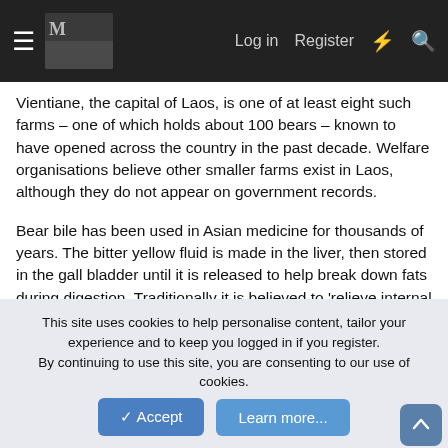MJ [logo] Log in Register
Vientiane, the capital of Laos, is one of at least eight such farms – one of which holds about 100 bears – known to have opened across the country in the past decade. Welfare organisations believe other smaller farms exist in Laos, although they do not appear on government records.
Bear bile has been used in Asian medicine for thousands of years. The bitter yellow fluid is made in the liver, then stored in the gall bladder until it is released to help break down fats during digestion. Traditionally it is believed to 'relieve internal heat', but its supposed powers are myriad and it is prescribed for everything from hangovers to cancer and is found in products from edible powders to shower gels. 🙁
While scientific studies have found a substance contained in
This site uses cookies to help personalise content, tailor your experience and to keep you logged in if you register.
By continuing to use this site, you are consenting to our use of cookies.